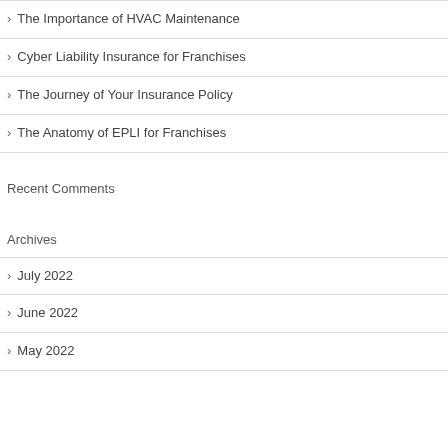The Importance of HVAC Maintenance
Cyber Liability Insurance for Franchises
The Journey of Your Insurance Policy
The Anatomy of EPLI for Franchises
Recent Comments
Archives
July 2022
June 2022
May 2022